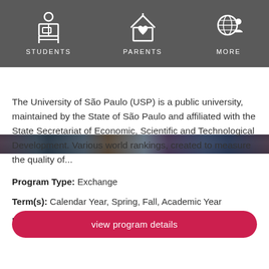[Figure (screenshot): Navigation bar with icons for STUDENTS, PARENTS, and MORE on a dark gray background]
[Figure (photo): Partial photo strip of a city/university scene]
The University of São Paulo (USP) is a public university, maintained by the State of São Paulo and affiliated with the State Secretariat of Economic, Scientific and Technological Development. Various world rankings, created to measure the quality of...
Program Type: Exchange
Term(s): Calendar Year, Spring, Fall, Academic Year
Minimum GPA: 2.5
view program details